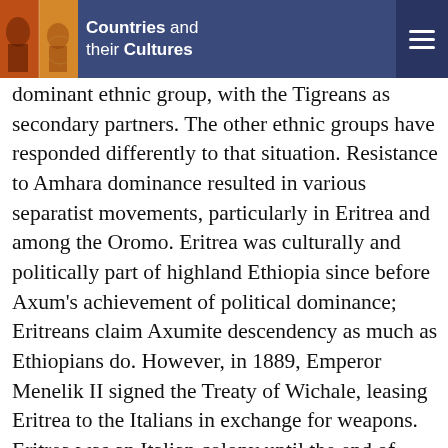Countries and their Cultures
dominant ethnic group, with the Tigreans as secondary partners. The other ethnic groups have responded differently to that situation. Resistance to Amhara dominance resulted in various separatist movements, particularly in Eritrea and among the Oromo. Eritrea was culturally and politically part of highland Ethiopia since before Axum's achievement of political dominance; Eritreans claim Axumite descendency as much as Ethiopians do. However, in 1889, Emperor Menelik II signed the Treaty of Wichale, leasing Eritrea to the Italians in exchange for weapons. Eritrea was an Italian colony until the end of World War II. In 1947, Italy signed the Treaty of Paris, renouncing all its colonial claims. The United Nations passed a resolution in 1950 establishing Eritrea as a federation under the Ethiopian crown. By 1961, Eritrean rebels had begun fighting for independence in the bush. In November 1962, Haile Selassie abolished the federation and sent his army to quell any resistance, forcefully subordinating Eritrea against the will of its people.